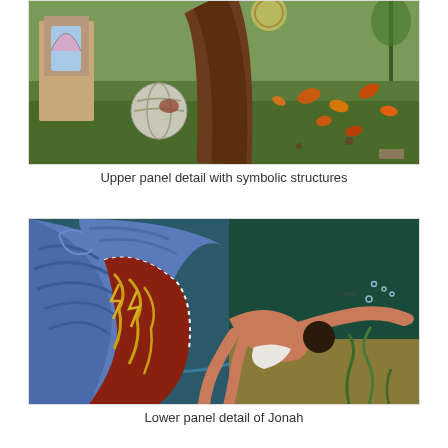[Figure (illustration): Upper panel detail of a painting showing symbolic structures: a grey sphere on green ground, a gothic architectural element on the left, a large brown tree trunk, and scattered autumn leaves and small creatures on a grassy landscape.]
Upper panel detail with symbolic structures
[Figure (illustration): Lower panel detail of Jonah: a figure being expelled or swallowed by a large whale/sea creature with a blue exterior and red interior decorated with gold lightning bolt patterns. The figure reaches outward into blue-green water with undersea vegetation visible.]
Lower panel detail of Jonah